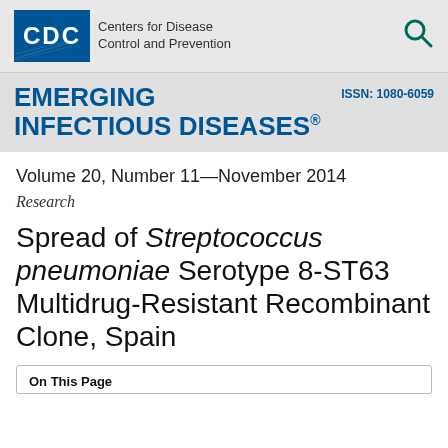[Figure (logo): CDC logo with 'Centers for Disease Control and Prevention' text and a search icon on the right]
EMERGING INFECTIOUS DISEASES®  ISSN: 1080-6059
Volume 20, Number 11—November 2014
Research
Spread of Streptococcus pneumoniae Serotype 8-ST63 Multidrug-Resistant Recombinant Clone, Spain
On This Page